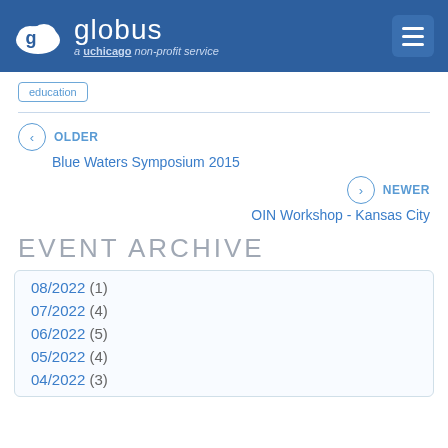globus — a uchicago non-profit service
education
OLDER
Blue Waters Symposium 2015
NEWER
OIN Workshop - Kansas City
EVENT ARCHIVE
08/2022 (1)
07/2022 (4)
06/2022 (5)
05/2022 (4)
04/2022 (3)